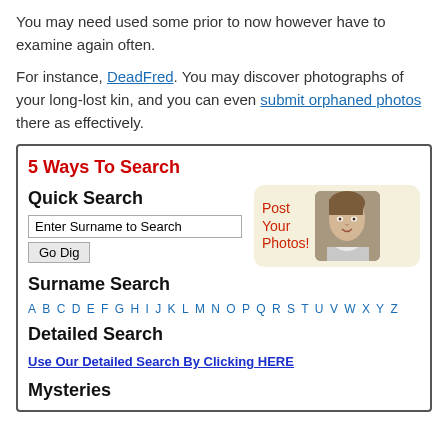You may need used some prior to now however have to examine again often.
For instance, DeadFred. You may discover photographs of your long-lost kin, and you can even submit orphaned photos there as effectively.
5 Ways To Search
Quick Search
[Figure (screenshot): Post Your Photos! banner with vintage child portrait]
Surname Search
A B C D E F G H I J K L M N O P Q R S T U V W X Y Z
Detailed Search
Use Our Detailed Search By Clicking HERE
Mysteries